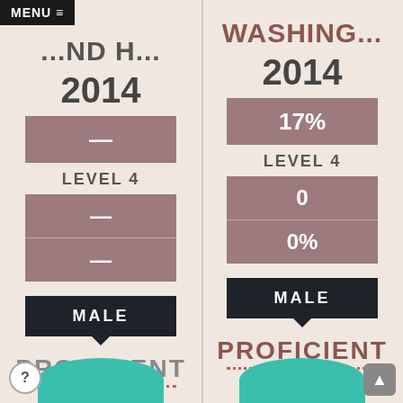MENU ≡
...ND H...
WASHING...
2014
2014
[Figure (infographic): Left column: stat box showing dash (—), LEVEL 4 label, two stat boxes showing dashes. Right column: stat box showing 17%, LEVEL 4 label, stat boxes showing 0 and 0%.]
MALE
MALE
PROFICIENT
PROFICIENT